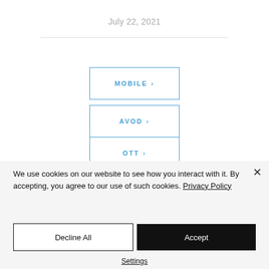July 22, 2021
MOBILE >
AVOD >
OTT >
We use cookies on our website to see how you interact with it. By accepting, you agree to our use of such cookies. Privacy Policy
Decline All
Accept
Settings